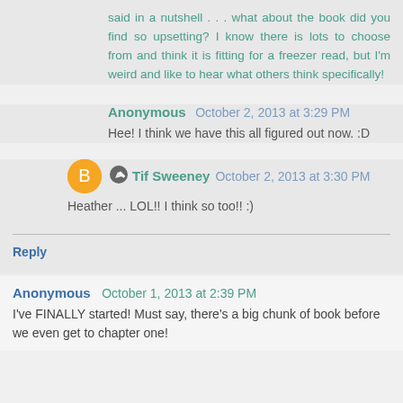said in a nutshell . . . what about the book did you find so upsetting? I know there is lots to choose from and think it is fitting for a freezer read, but I'm weird and like to hear what others think specifically!
Anonymous  October 2, 2013 at 3:29 PM
Hee! I think we have this all figured out now. :D
Tif Sweeney  October 2, 2013 at 3:30 PM
Heather ... LOL!! I think so too!! :)
Reply
Anonymous  October 1, 2013 at 2:39 PM
I've FINALLY started! Must say, there's a big chunk of book before we even get to chapter one!